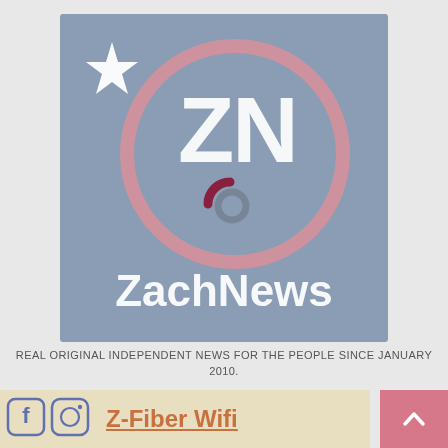[Figure (logo): ZachNews logo: slate blue/grey square background with a white star in the upper left, a large pink circle outline in the center, white letters ZN at top center, a small dark pink and grey circular symbol below, and the word ZachNews in large white text at the bottom of the square.]
REAL ORIGINAL INDEPENDENT NEWS FOR THE PEOPLE SINCE JANUARY 2010.
[Figure (logo): Facebook and Instagram social media icons in blue/purple outline style on a cream/tan background bar, alongside the text Z-Fiber Wifi in orange/terracotta underlined font. A pink scroll-to-top button with a white chevron up arrow is on the right.]